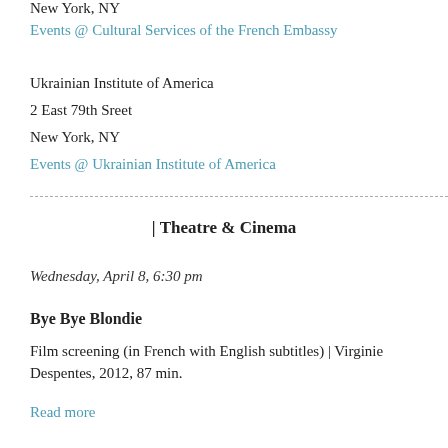New York, NY
Events @ Cultural Services of the French Embassy
Ukrainian Institute of America
2 East 79th Sreet
New York, NY
Events @ Ukrainian Institute of America
| Theatre & Cinema
Wednesday, April 8, 6:30 pm
Bye Bye Blondie
Film screening (in French with English subtitles) | Virginie Despentes, 2012, 87 min.
Read more